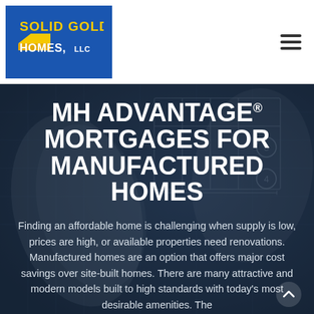[Figure (logo): Solid Gold Homes LLC logo — blue square background with gold and white bold text reading SOLID GOLD HOMES LLC]
[Figure (other): Hamburger menu icon — three horizontal dark lines]
[Figure (photo): Background hero image of rolled architectural blueprint plans on a dark blue-grey overlay]
MH ADVANTAGE® MORTGAGES FOR MANUFACTURED HOMES
Finding an affordable home is challenging when supply is low, prices are high, or available properties need renovations. Manufactured homes are an option that offers major cost savings over site-built homes. There are many attractive and modern models built to high standards with today's most desirable amenities. The